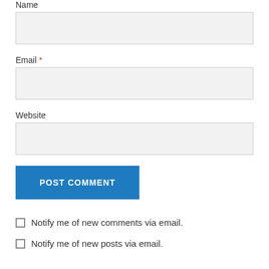Name
[Figure (other): Name input text field (empty, light gray background)]
Email *
[Figure (other): Email input text field (empty, light gray background)]
Website
[Figure (other): Website input text field (empty, light gray background)]
[Figure (other): POST COMMENT button (blue background, white uppercase text)]
Notify me of new comments via email.
Notify me of new posts via email.